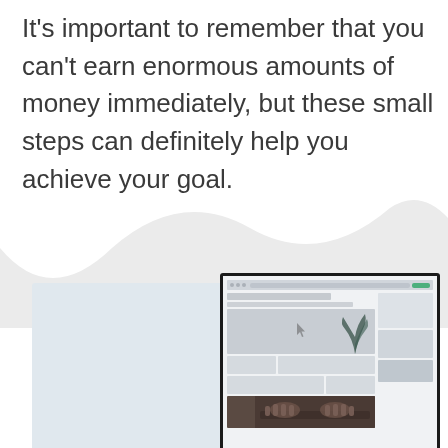It's important to remember that you can't earn enormous amounts of money immediately, but these small steps can definitely help you achieve your goal.
[Figure (screenshot): Decorative wave background with a light gray hill shape, above a screenshot composition showing two overlapping monitor/browser windows — one blank light blue-gray panel on the left and a browser window on the right displaying a website with a plant photo and content cards, including an image of hands on a keyboard.]